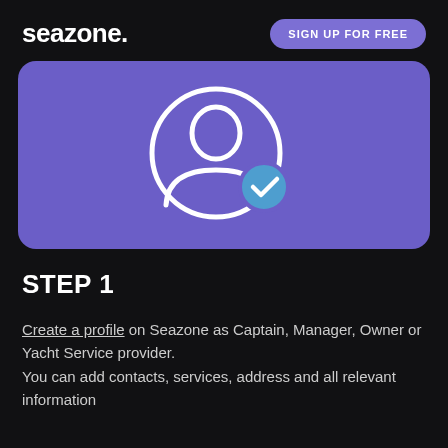seazone.  SIGN UP FOR FREE
[Figure (illustration): Purple rounded rectangle containing a white outline icon of a person/profile with a blue checkmark circle badge in the lower right]
STEP 1
Create a profile on Seazone as Captain, Manager, Owner or Yacht Service provider. You can add contacts, services, address and all relevant information